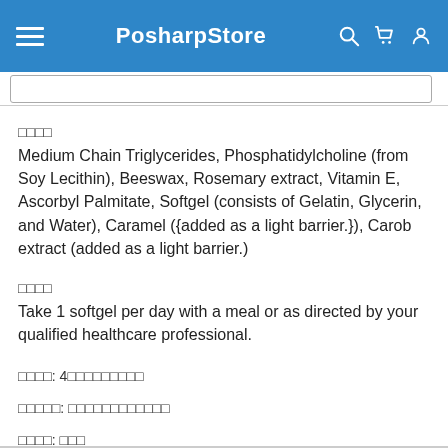PosharpStore
□□□□
Medium Chain Triglycerides, Phosphatidylcholine (from Soy Lecithin), Beeswax, Rosemary extract, Vitamin E, Ascorbyl Palmitate, Softgel (consists of Gelatin, Glycerin, and Water), Caramel ({added as a light barrier.}), Carob extract (added as a light barrier.)
□□□□
Take 1 softgel per day with a meal or as directed by your qualified healthcare professional.
□□□□:  4□□□□□□□□□
□□□□□:  □□□□□□□□□□□□
□□□□:  □□□